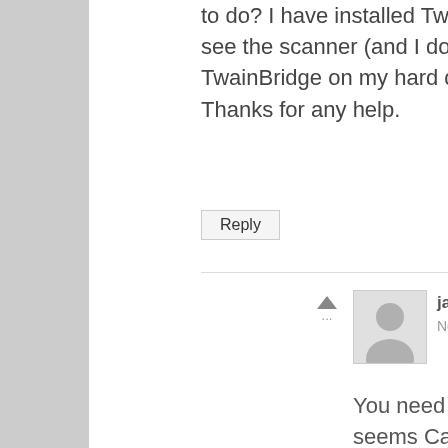to do? I have installed TwainBridge but I cannot see the scanner (and I don't seem to find TwainBridge on my hard drive using spotlight) Thanks for any help.
Reply
janegil says:
November 3, 2014 at 11:14 pm
You need a driver in addition to this package. It seems Canons drivers are too old for this scanner to be used with Yosemite, some other people commenting here has had success using it with the SANE drivers, and this package. AFAIK the SANE drivers does not yet support Yosemite :(, but it will hopefully in a little while, keep an eye on